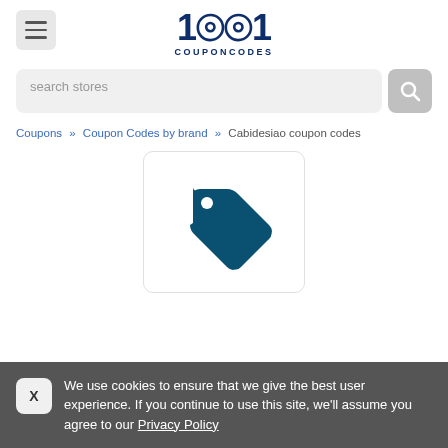[Figure (logo): 1001 CouponCodes logo with menu button and search bar]
Coupons » Coupon Codes by brand » Cabidesiao coupon codes
[Figure (illustration): Price tag icon in dark teal color on white card background]
We use cookies to ensure that we give the best user experience. If you continue to use this site, we'll assume you agree to our Privacy Policy